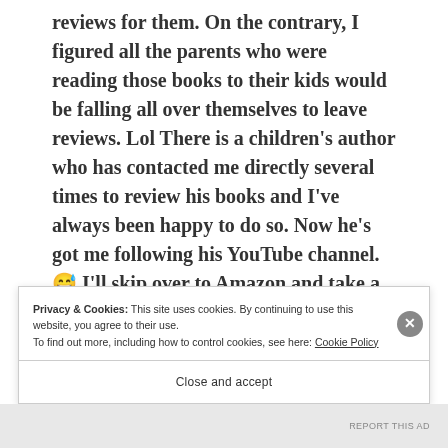reviews for them. On the contrary, I figured all the parents who were reading those books to their kids would be falling all over themselves to leave reviews. Lol There is a children's author who has contacted me directly several times to review his books and I've always been happy to do so. Now he's got me following his YouTube channel. 😅 I'll skip over to Amazon and take a look at your work. I'm sure I will enjoy reading a couple of your books.
Privacy & Cookies: This site uses cookies. By continuing to use this website, you agree to their use.
To find out more, including how to control cookies, see here: Cookie Policy
Close and accept